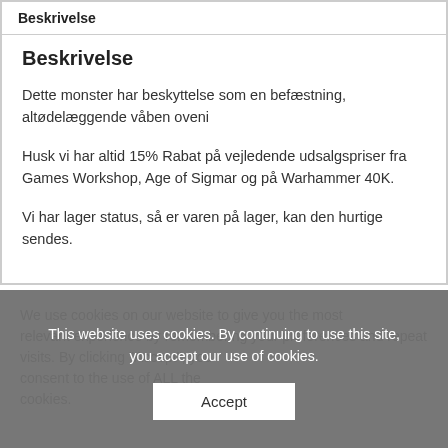Beskrivelse
Beskrivelse
Dette monster har beskyttelse som en befæstning, altødelæggende våben oveni
Husk vi har altid 15% Rabat på vejledende udsalgspriser fra Games Workshop, Age of Sigmar og på Warhammer 40K.
Vi har lager status, så er varen på lager, kan den hurtige sendes.
We use cookies on our website to give you the most
This website uses cookies. By continuing to use this site, you accept our use of cookies.